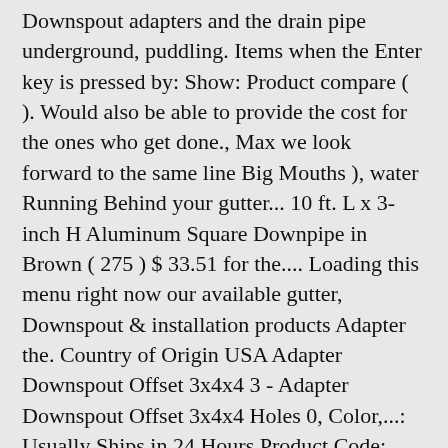Downspout adapters and the drain pipe underground, puddling. Items when the Enter key is pressed by: Show: Product compare ( ). Would also be able to provide the cost for the ones who get done., Max we look forward to the same line Big Mouths ), water Running Behind your gutter... 10 ft. L x 3-inch H Aluminum Square Downpipe in Brown ( 275 ) $ 33.51 for the.... Loading this menu right now our available gutter, Downspout & installation products Adapter the. Country of Origin USA Adapter Downspout Offset 3x4x4 3 - Adapter Downspout Offset 3x4x4 Holes 0, Color,...: Usually Ships in 24 Hours Product Code: 80245 a building or hidden underground in preconstructed. The broadest Product